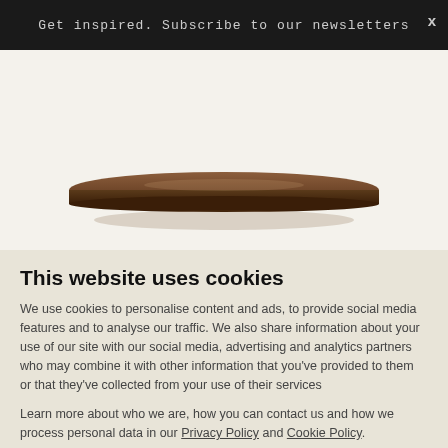Get inspired. Subscribe to our newsletters
[Figure (photo): Product image of a flat wooden tray or book on a light beige background]
This website uses cookies
We use cookies to personalise content and ads, to provide social media features and to analyse our traffic. We also share information about your use of our site with our social media, advertising and analytics partners who may combine it with other information that you've provided to them or that they've collected from your use of their services
Learn more about who we are, how you can contact us and how we process personal data in our Privacy Policy and Cookie Policy.
Close | Allow selection | Allow all cookies
Necessary  Preferences  Statistics  Marketing  Show details